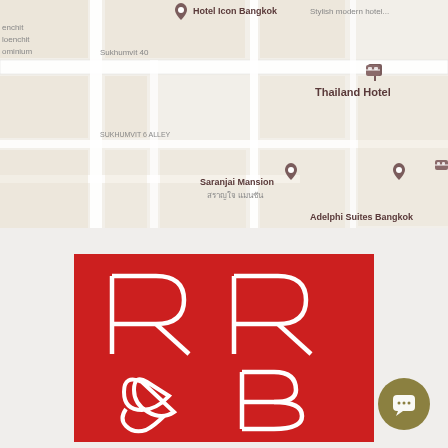[Figure (map): Google Maps view showing Hotel Icon Bangkok, Thailand Hotel, Saranjai Mansion, and Adelphi Suites Bangkok locations in Bangkok]
[Figure (logo): RR&B logo — red square background with large white stylized letters R, R, ampersand, and B arranged in 2x2 grid]